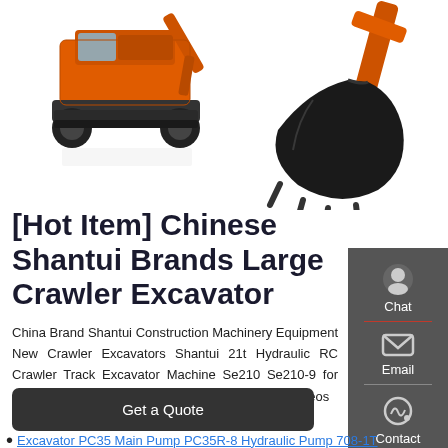[Figure (photo): Orange/red Shantui crawler excavator on white background, left side — side/front view showing tracks and body]
[Figure (photo): Close-up of a large black excavator bucket/digging attachment on right side of image]
[Hot Item] Chinese Shantui Brands Large Crawler Excavator
China Brand Shantui Construction Machinery Equipment New Crawler Excavators Shantui 21t Hydraulic RC Crawler Track Excavator Machine Se210 Se210-9 for Sale US $70,000-75,500 / Piece Watch Related Videos
[Figure (other): Chat, Email, Contact sidebar icons on dark gray background]
Get a Quote
Excavator PC35 Main Pump PC35R-8 Hydraulic Pump 708-1T